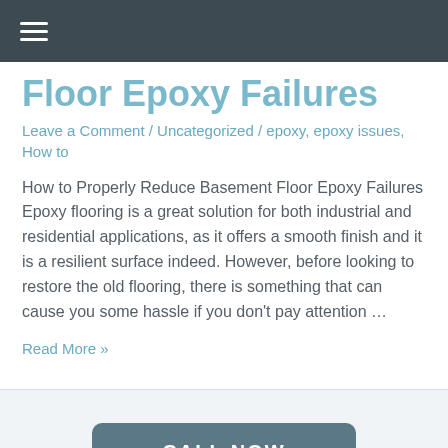☰ (navigation menu)
Floor Epoxy Failures
Leave a Comment / Uncategorized / epoxy, epoxy issues, How to
How to Properly Reduce Basement Floor Epoxy Failures Epoxy flooring is a great solution for both industrial and residential applications, as it offers a smooth finish and it is a resilient surface indeed. However, before looking to restore the old flooring, there is something that can cause you some hassle if you don't pay attention …
Read More »
CALL NOW